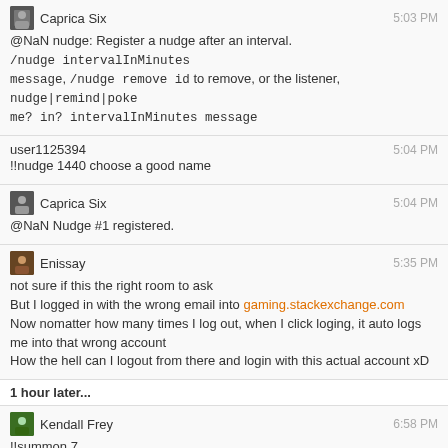Caprica Six 5:03 PM
@NaN nudge: Register a nudge after an interval. /nudge intervalInMinutes message, /nudge remove id to remove, or the listener, nudge|remind|poke me? in? intervalInMinutes message
user1125394 5:04 PM
!!nudge 1440 choose a good name
Caprica Six 5:04 PM
@NaN Nudge #1 registered.
Enissay 5:35 PM
not sure if this the right room to ask
But I logged in with the wrong email into gaming.stackexchange.com
Now nomatter how many times I log out, when I click loging, it auto logs me into that wrong account
How the hell can I logout from there and login with this actual account xD
1 hour later...
Kendall Frey 6:58 PM
!!summon 7
Kendall Frey 7:11 PM
!!unsummon 7
!!summon 7
user1125394 7:28 PM
!!pedia persimmon